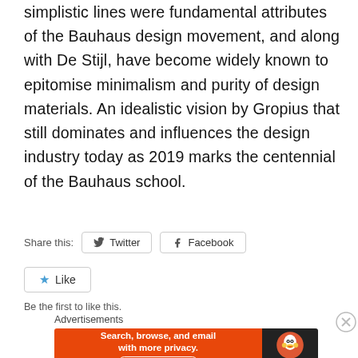simplistic lines were fundamental attributes of the Bauhaus design movement, and along with De Stijl, have become widely known to epitomise minimalism and purity of design materials. An idealistic vision by Gropius that still dominates and influences the design industry today as 2019 marks the centennial of the Bauhaus school.
Share this:
Twitter
Facebook
Like
Be the first to like this.
Advertisements
[Figure (screenshot): DuckDuckGo advertisement banner: orange left panel with text 'Search, browse, and email with more privacy. All in One Free App' and dark right panel with DuckDuckGo logo and name.]